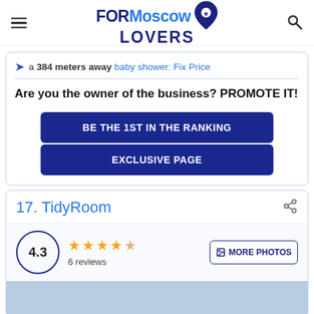FORMoscow LOVERS
a 384 meters away baby shower: Fix Price
Are you the owner of the business? PROMOTE IT!
BE THE 1ST IN THE RANKING
EXCLUSIVE PAGE
17. TidyRoom
4.3
6 reviews
MORE PHOTOS